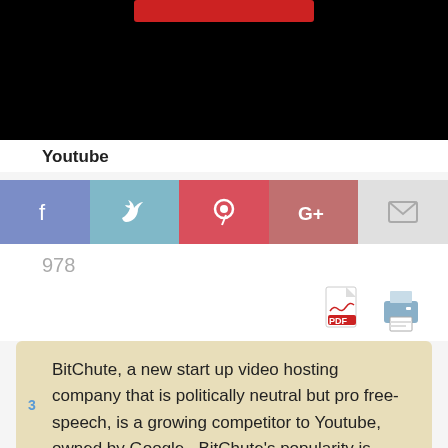[Figure (screenshot): Video thumbnail with black background and red bar at top, resembling a YouTube video player]
Youtube
[Figure (infographic): Social share buttons row: Facebook (blue-purple), Twitter (light blue), Pinterest (red), Google+ (muted red), Email (light grey)]
978
[Figure (infographic): PDF icon and printer icon for download/print actions]
BitChute, a new start up video hosting company that is politically neutral but pro free-speech, is a growing competitor to Youtube, owned by Google.  BitChute’s popularity is largely a result of Google’s hostility to conservatives and banning them